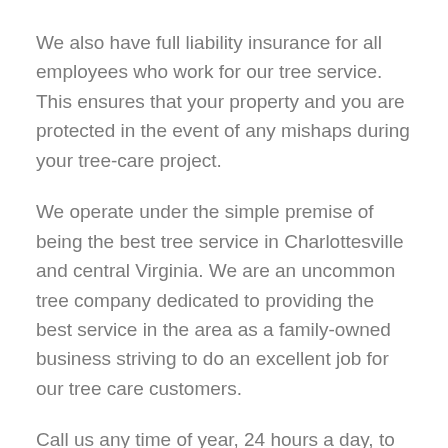We also have full liability insurance for all employees who work for our tree service. This ensures that your property and you are protected in the event of any mishaps during your tree-care project.
We operate under the simple premise of being the best tree service in Charlottesville and central Virginia. We are an uncommon tree company dedicated to providing the best service in the area as a family-owned business striving to do an excellent job for our tree care customers.
Call us any time of year, 24 hours a day, to speak with one of our helpful customer service representatives. Before sending one of our tree service estimators to visit your home or place of business, they will ask you some questions about what kind of tree work you